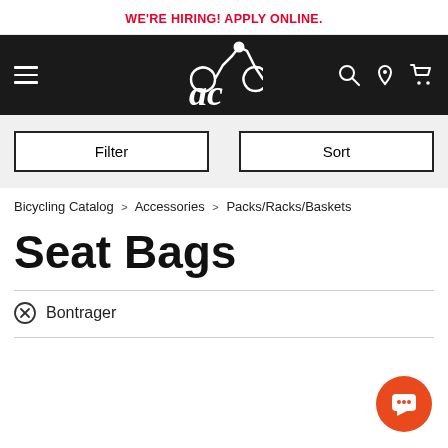WE'RE HIRING! APPLY ONLINE.
[Figure (logo): Cycling store logo with 'ac' stylized text and cyclist silhouette on black navigation bar with hamburger menu, search, location, and cart icons]
Filter   Sort
Bicycling Catalog > Accessories > Packs/Racks/Baskets
Seat Bags
⊗ Bontrager